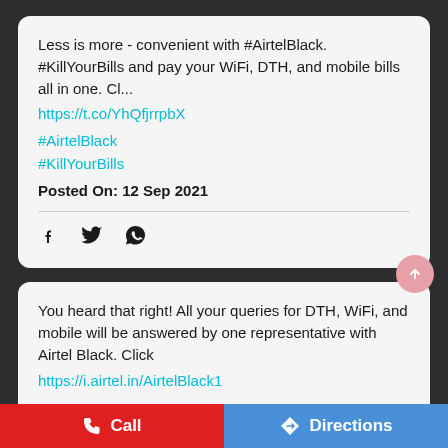Less is more - convenient with #AirtelBlack. #KillYourBills and pay your WiFi, DTH, and mobile bills all in one. Cl... https://t.co/YhQfjrrpbX
#AirtelBlack
#KillYourBills
Posted On: 12 Sep 2021
[Figure (infographic): Social share icons: Facebook, Twitter, WhatsApp]
You heard that right! All your queries for DTH, WiFi, and mobile will be answered by one representative with Airtel Black. Click https://i.airtel.in/AirtelBlack1 to know more. . . . . . . . . . . . . . . . . . . . . . . . . . . . . . . . . . .
[Figure (infographic): Bottom bar with Call button (red) and Directions button (blue)]